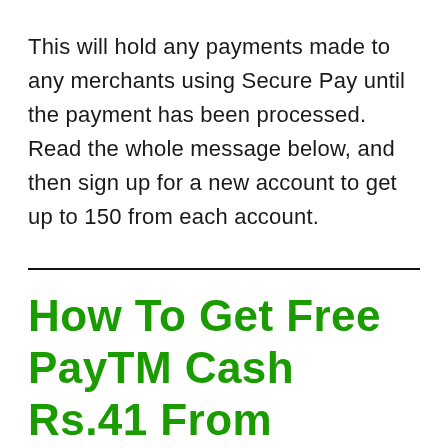This will hold any payments made to any merchants using Secure Pay until the payment has been processed. Read the whole message below, and then sign up for a new account to get up to 150 from each account.
How To Get Free PayTM Cash Rs.41 From Snapay App?